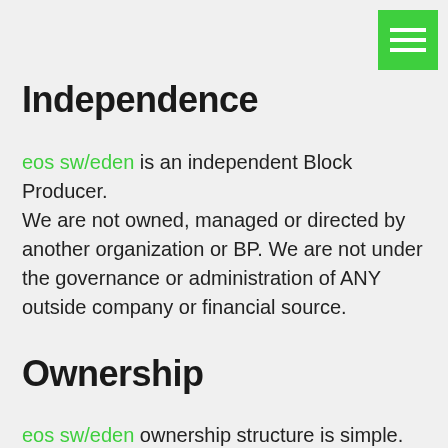Independence
eos sw/eden is an independent Block Producer. We are not owned, managed or directed by another organization or BP. We are not under the governance or administration of ANY outside company or financial source.
Ownership
eos sw/eden ownership structure is simple. Co-Founder & CTO, Eric Björk owns 50% of the